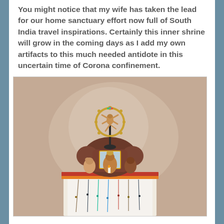You might notice that my wife has taken the lead for our home sanctuary effort now full of South India travel inspirations. Certainly this inner shrine will grow in the coming days as I add my own artifacts to this much needed antidote in this uncertain time of Corona confinement.
[Figure (photo): A home shrine/sanctuary featuring a Nataraja (dancing Shiva) brass figurine at the top, an elephant-shaped wooden piece in the center, various Hindu deity figurines and artifacts arranged on a cloth-covered table with beads and ornaments hanging below.]